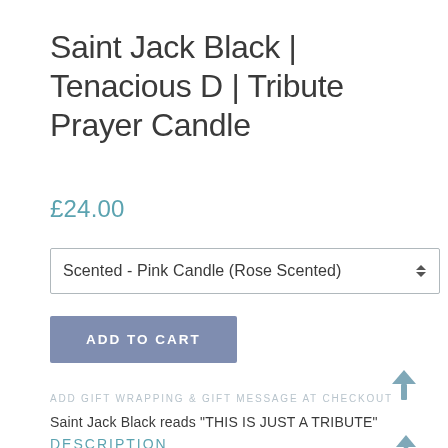Saint Jack Black | Tenacious D | Tribute Prayer Candle
£24.00
Scented - Pink Candle (Rose Scented)
ADD TO CART
ADD GIFT WRAPPING & GIFT MESSAGE AT CHECKOUT
Saint Jack Black reads "THIS IS JUST A TRIBUTE"
DESCRIPTION